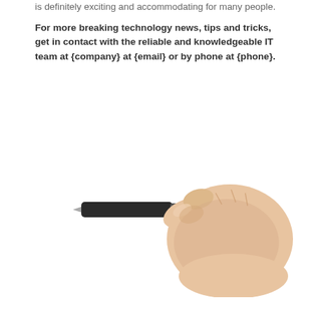is definitely exciting and accommodating for many people.
For more breaking technology news, tips and tricks, get in contact with the reliable and knowledgeable IT team at {company} at {email} or by phone at {phone}.
[Figure (photo): A hand holding a stylus or pen, pointing to the left against a white background.]